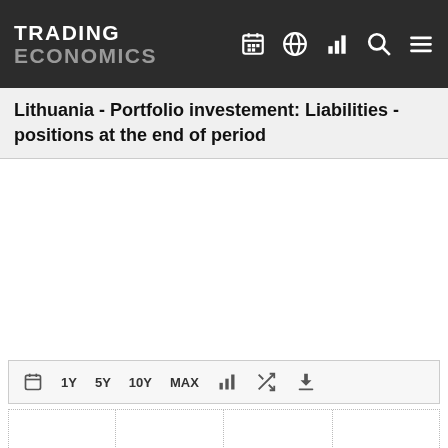TRADING ECONOMICS
Lithuania - Portfolio investement: Liabilities - positions at the end of period
[Figure (other): Empty chart area with no data displayed]
|  |  |  |  |